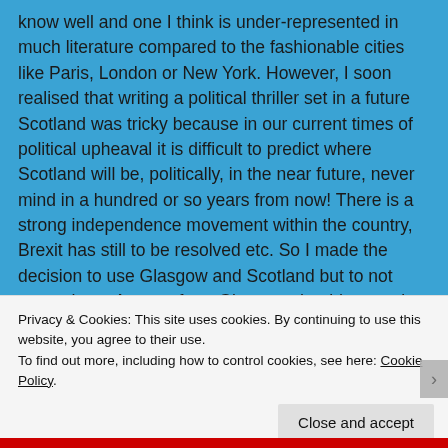know well and one I think is under-represented in much literature compared to the fashionable cities like Paris, London or New York. However, I soon realised that writing a political thriller set in a future Scotland was tricky because in our current times of political upheaval it is difficult to predict where Scotland will be, politically, in the near future, never mind in a hundred or so years from now! There is a strong independence movement within the country, Brexit has still to be resolved etc. So I made the decision to use Glasgow and Scotland but to not name them. Anyone from Glasgow should recognise the descriptions, but those unfamiliar with the locations can enjoy and imagine it to be wherever they wish. And whatever
Privacy & Cookies: This site uses cookies. By continuing to use this website, you agree to their use.
To find out more, including how to control cookies, see here: Cookie Policy
Close and accept